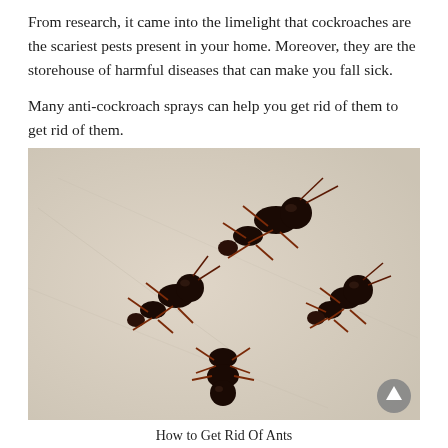From research, it came into the limelight that cockroaches are the scariest pests present in your home. Moreover, they are the storehouse of harmful diseases that can make you fall sick.

Many anti-cockroach sprays can help you get rid of them to get rid of them.
[Figure (photo): Close-up photograph of several large black and red ants (likely carpenter ants) crawling on a light-colored fabric surface.]
How to Get Rid Of Ants